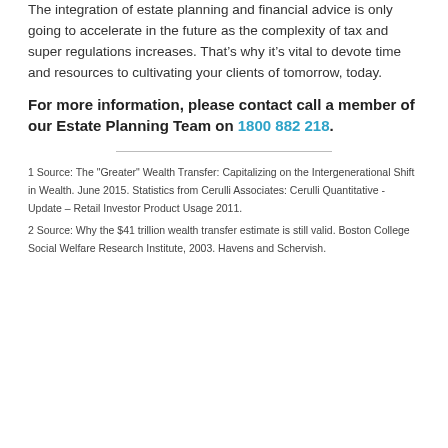The integration of estate planning and financial advice is only going to accelerate in the future as the complexity of tax and super regulations increases. That’s why it’s vital to devote time and resources to cultivating your clients of tomorrow, today.
For more information, please contact call a member of our Estate Planning Team on 1800 882 218.
1 Source: The "Greater" Wealth Transfer: Capitalizing on the Intergenerational Shift in Wealth. June 2015. Statistics from Cerulli Associates: Cerulli Quantitative - Update – Retail Investor Product Usage 2011.
2 Source: Why the $41 trillion wealth transfer estimate is still valid. Boston College Social Welfare Research Institute, 2003. Havens and Schervish.